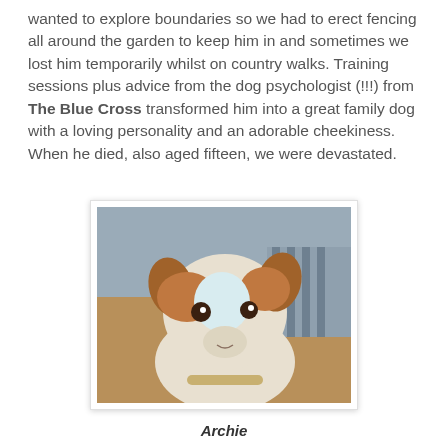wanted to explore boundaries so we had to erect fencing all around the garden to keep him in and sometimes we lost him temporarily whilst on country walks. Training sessions plus advice from the dog psychologist (!!!) from The Blue Cross transformed him into a great family dog with a loving personality and an adorable cheekiness. When he died, also aged fifteen, we were devastated.
[Figure (photo): A close-up photo of a Jack Russell terrier mix dog named Archie, with white and brown/tan coloring, looking at the camera with alert ears.]
Archie